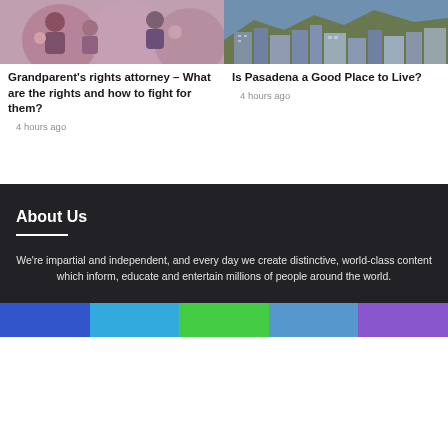[Figure (photo): Photo of grandparents with young children/babies, warm family scene]
Grandparent's rights attorney – What are the rights and how to fight for them?
4 hours ago
[Figure (photo): Aerial/cityscape photo of Pasadena with buildings and hills in background]
Is Pasadena a Good Place to Live?
4 hours ago
About Us
We're impartial and independent, and every day we create distinctive, world-class content which inform, educate and entertain millions of people around the world.